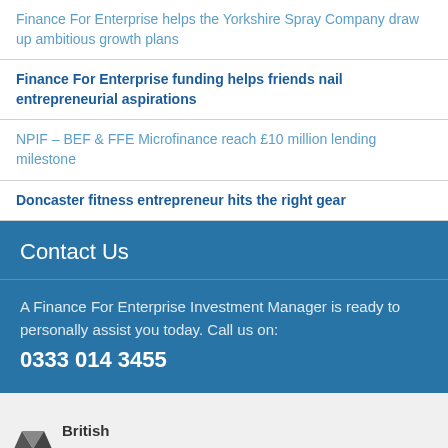Finance For Enterprise helps the Yorkshire Spray Company draw up ambitious growth plans
Finance For Enterprise funding helps friends nail entrepreneurial aspirations
NPIF – BEF & FFE Microfinance reach £10 million lending milestone
Doncaster fitness entrepreneur hits the right gear
Contact Us
A Finance For Enterprise Investment Manager is ready to personally assist you today. Call us on: 0333 014 3455
[Figure (logo): British business logo partial view at page bottom]